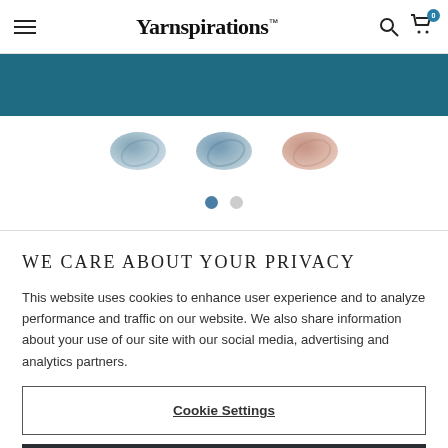Yarnspirations
[Figure (screenshot): Teal banner strip and yarn ball product thumbnails carousel with blue/grey and pink yarn balls, with two navigation dots below]
WE CARE ABOUT YOUR PRIVACY
This website uses cookies to enhance user experience and to analyze performance and traffic on our website. We also share information about your use of our site with our social media, advertising and analytics partners.
Cookie Settings
ACCEPT ALL COOKIES